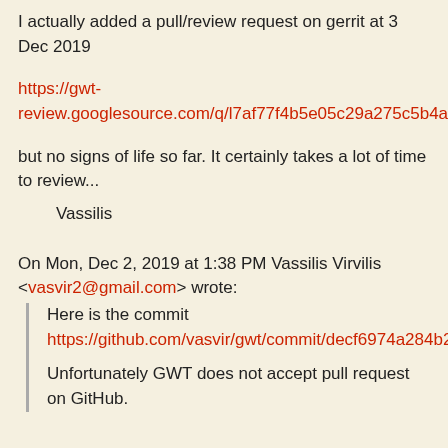I actually added a pull/review request on gerrit at 3 Dec 2019
https://gwt-review.googlesource.com/q/l7af77f4b5e05c29a275c5b4a3f5610288f11dba9
but no signs of life so far. It certainly takes a lot of time to review...
Vassilis
On Mon, Dec 2, 2019 at 1:38 PM Vassilis Virvilis <vasvir2@gmail.com> wrote:
Here is the commit
https://github.com/vasvir/gwt/commit/decf6974a284b24042c072e47662554ed0613a60
Unfortunately GWT does not accept pull request on GitHub.